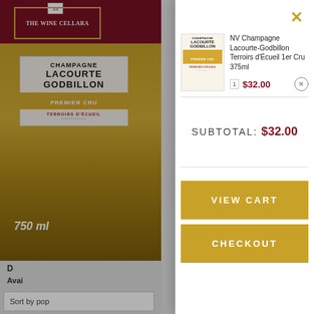[Figure (screenshot): Wine cellar website background showing bottle of Champagne Lacourte Godbillon Premier Cru with dark red header and The Wine Cellar logo]
NV Champagne Lacourte-Godbillon Terroirs d'Écueil 1er Cru 375ml
1  $32.00
SUBTOTAL: $32.00
VIEW CART
CHECKOUT
Avai
Sort by pop